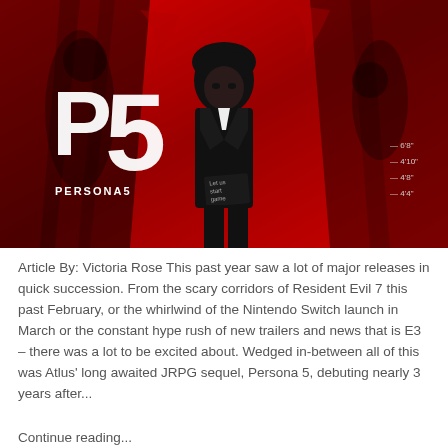[Figure (illustration): Persona 5 promotional artwork showing the main character in a black coat against a vivid red background with the P5 / PERSONA5 logo in the upper left and dark silhouettes of other characters]
Article By: Victoria Rose This past year saw a lot of major releases in quick succession. From the scary corridors of Resident Evil 7 this past February, or the whirlwind of the Nintendo Switch launch in March or the constant hype rush of new trailers and news that is E3 – there was a lot to be excited about. Wedged in-between all of this was Atlus' long awaited JRPG sequel, Persona 5, debuting nearly 3 years after...
Continue reading...